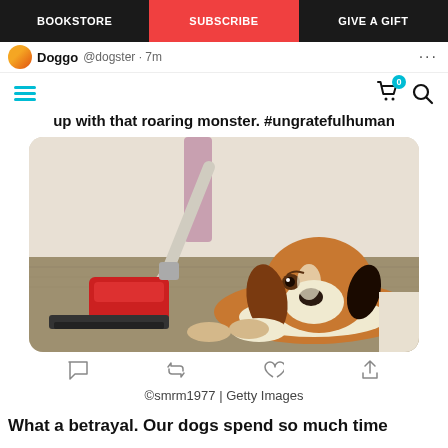BOOKSTORE | SUBSCRIBE | GIVE A GIFT
Doggo @dogster · 7m ...
up with that roaring monster. #ungratefulhuman
[Figure (photo): A beagle dog lying low on a carpet with a vacuum cleaner being used nearby, looking sad or scared]
©smrm1977 | Getty Images
What a betrayal. Our dogs spend so much time